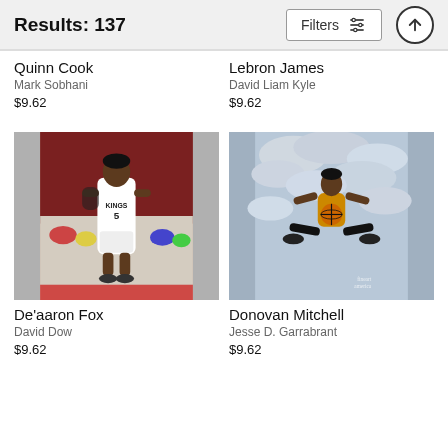Results: 137  Filters
Quinn Cook
Mark Sobhani
$9.62
Lebron James
David Liam Kyle
$9.62
[Figure (photo): De'aaron Fox in Kings #5 white uniform standing on basketball court]
[Figure (photo): Donovan Mitchell jumping spread-eagle in the air holding a basketball against cloudy sky, fine art america watermark]
De'aaron Fox
David Dow
$9.62
Donovan Mitchell
Jesse D. Garrabrant
$9.62